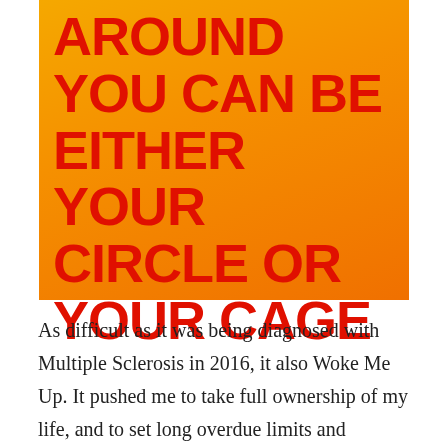[Figure (illustration): Orange/yellow gradient background with large bold red uppercase text reading: PEOPLE AROUND YOU CAN BE EITHER YOUR CIRCLE OR YOUR CAGE]
As difficult as it was being diagnosed with Multiple Sclerosis in 2016, it also Woke Me Up. It pushed me to take full ownership of my life, and to set long overdue limits and